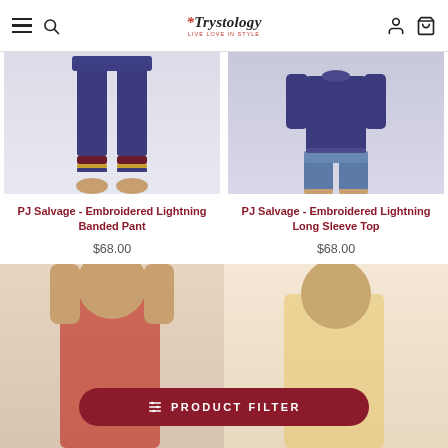Trystology — navigation header with hamburger, search, logo, account, and cart icons
[Figure (photo): Navy blue lounge/jogger pants with striped cuffs, worn by a person standing barefoot on white background]
PJ Salvage - Embroidered Lightning Banded Pant
$68.00
[Figure (photo): Navy blue long sleeve top worn by a person with denim shorts, white background]
PJ Salvage - Embroidered Lightning Long Sleeve Top
$68.00
[Figure (photo): Partial view of two product images at the bottom of the page, cut off]
⧩ PRODUCT FILTER